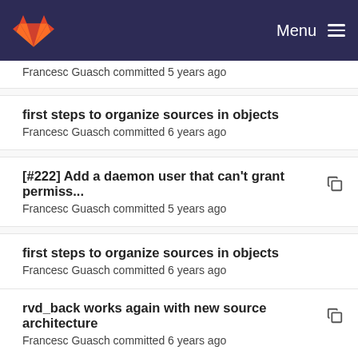Menu
Francesc Guasch committed 5 years ago
first steps to organize sources in objects
Francesc Guasch committed 6 years ago
[#222] Add a daemon user that can't grant permiss...
Francesc Guasch committed 5 years ago
first steps to organize sources in objects
Francesc Guasch committed 6 years ago
rvd_back works again with new source architecture
Francesc Guasch committed 6 years ago